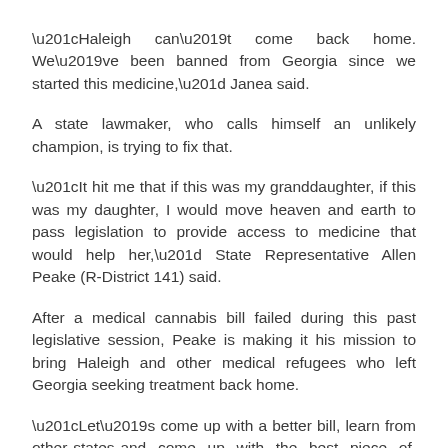“Haleigh can’t come back home. We’ve been banned from Georgia since we started this medicine,” Janea said.
A state lawmaker, who calls himself an unlikely champion, is trying to fix that.
“It hit me that if this was my granddaughter, if this was my daughter, I would move heaven and earth to pass legislation to provide access to medicine that would help her,” State Representative Allen Peake (R-District 141) said.
After a medical cannabis bill failed during this past legislative session, Peake is making it his mission to bring Haleigh and other medical refugees who left Georgia seeking treatment back home.
“Let’s come up with a better bill, learn from other states and come up with the best piece of medical cannabis legislation that we can, maybe the best one in the country,” Peake said.